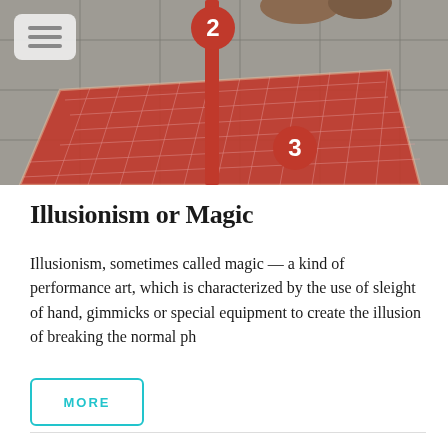[Figure (photo): A photo of a red gridded mat/rug on a stone floor with a red pole standing through it, numbered markers '2' and '3' visible (white text on red circles). A person's feet are partially visible at the top. A hamburger menu icon appears in the top-left corner overlay.]
Illusionism or Magic
Illusionism, sometimes called magic — a kind of performance art, which is characterized by the use of sleight of hand, gimmicks or special equipment to create the illusion of breaking the normal ph
MORE